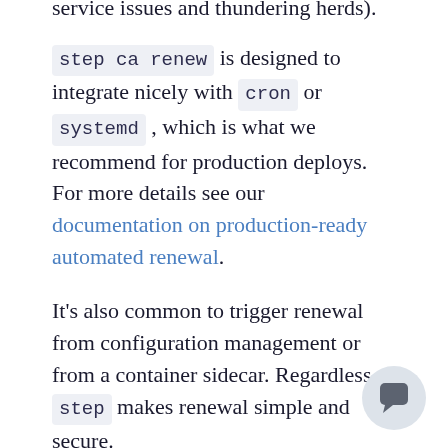service issues and thundering herds).
step ca renew is designed to integrate nicely with cron or systemd, which is what we recommend for production deploys. For more details see our documentation on production-ready automated renewal.
It's also common to trigger renewal from configuration management or from a container sidecar. Regardless, step makes renewal simple and secure.
Finally, sometimes you don't want certificates to be renewed. For example, if you're issuing certificates using single ...